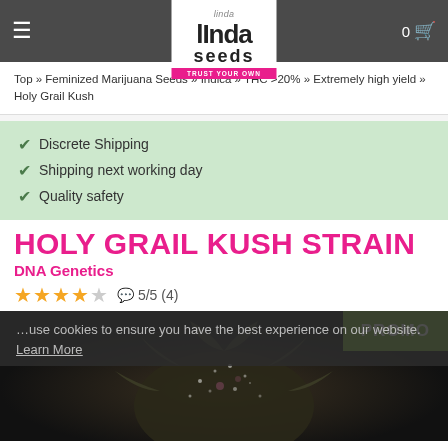Linda Seeds — TRUST YOUR OWN
Top » Feminized Marijuana Seeds » Indica » THC >20% » Extremely high yield » Holy Grail Kush
Discrete Shipping
Shipping next working day
Quality safety
HOLY GRAIL KUSH STRAIN
DNA Genetics
5/5 (4)
...use cookies to ensure you have the best experience on our website. Learn More
[Figure (photo): Close-up photo of Holy Grail Kush cannabis bud with trichomes, dark background, with PROMO badge overlay]